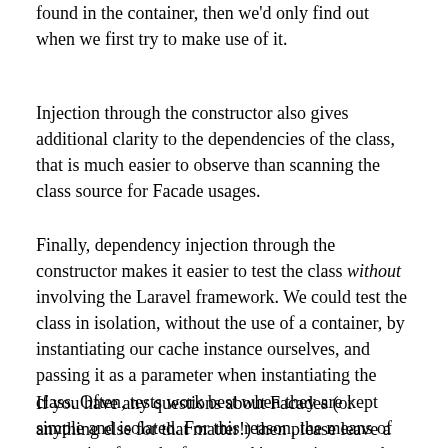found in the container, then we'd only find out when we first try to make use of it.
Injection through the constructor also gives additional clarity to the dependencies of the class, that is much easier to observe than scanning the class source for Facade usages.
Finally, dependency injection through the constructor makes it easier to test the class without involving the Laravel framework. We could test the class in isolation, without the use of a container, by instantiating our cache instance ourselves, and passing it as a parameter when instantiating the class. Often, tests work best when they are kept simple and isolated. For this reason, the means of separation from the framework's container may be useful to you.
If you have any questions about Facades (or anything else for that matter!) then please leave a comment below! I'd be